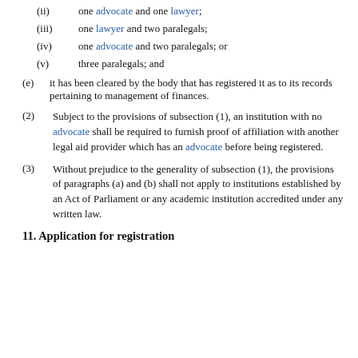(ii) one advocate and one lawyer;
(iii) one lawyer and two paralegals;
(iv) one advocate and two paralegals; or
(v) three paralegals; and
(e) it has been cleared by the body that has registered it as to its records pertaining to management of finances.
(2) Subject to the provisions of subsection (1), an institution with no advocate shall be required to furnish proof of affiliation with another legal aid provider which has an advocate before being registered.
(3) Without prejudice to the generality of subsection (1), the provisions of paragraphs (a) and (b) shall not apply to institutions established by an Act of Parliament or any academic institution accredited under any written law.
11. Application for registration